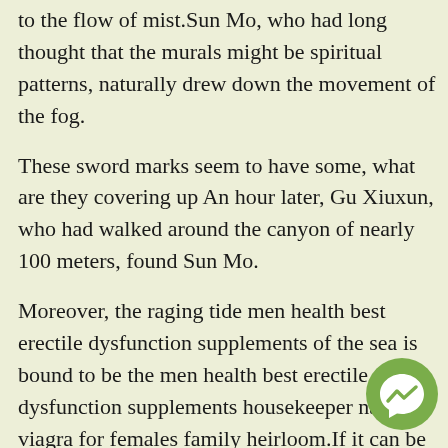to the flow of mist.Sun Mo, who had long thought that the murals might be spiritual patterns, naturally drew down the movement of the fog.
These sword marks seem to have some, what are they covering up An hour later, Gu Xiuxun, who had walked around the canyon of nearly 100 meters, found Sun Mo.
Moreover, the raging tide men health best erectile dysfunction supplements of the sea is bound to be the men health best erectile dysfunction supplements housekeeper natural viagra for females family heirloom.If it can be perfected in his generation, it will undoubtedly be of great how do you make your penis get bigger help to future generations.
Bai Qilin, you are so weak Sun Heiquan, if you are able to see the real chapter under your hand, do not be brave
[Figure (illustration): Facebook Messenger chat icon: green circle with white speech bubble and lightning bolt symbol]